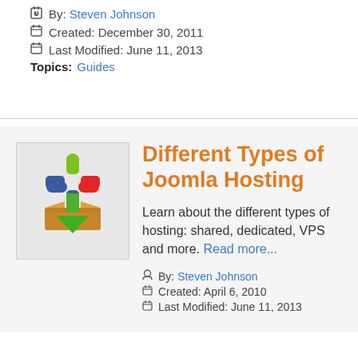By: Steven Johnson
Created: December 30, 2011
Last Modified: June 11, 2013
Topics: Guides
[Figure (illustration): Joomla logo with a download/install icon (green arrow into a box)]
Different Types of Joomla Hosting
Learn about the different types of hosting: shared, dedicated, VPS and more. Read more...
By: Steven Johnson
Created: April 6, 2010
Last Modified: June 11, 2013